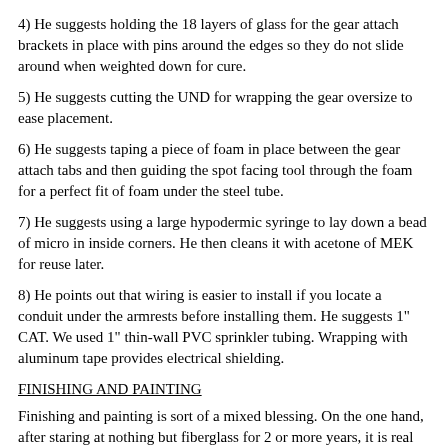4) He suggests holding the 18 layers of glass for the gear attach brackets in place with pins around the edges so they do not slide around when weighted down for cure.
5) He suggests cutting the UND for wrapping the gear oversize to ease placement.
6) He suggests taping a piece of foam in place between the gear attach tabs and then guiding the spot facing tool through the foam for a perfect fit of foam under the steel tube.
7) He suggests using a large hypodermic syringe to lay down a bead of micro in inside corners. He then cleans it with acetone of MEK for reuse later.
8) He points out that wiring is easier to install if you locate a conduit under the armrests before installing them. He suggests 1" CAT. We used 1" thin-wall PVC sprinkler tubing. Wrapping with aluminum tape provides electrical shielding.
FINISHING AND PAINTING
Finishing and painting is sort of a mixed blessing. On the one hand, after staring at nothing but fiberglass for 2 or more years, it is real satisfaction to start covering it with something of a different